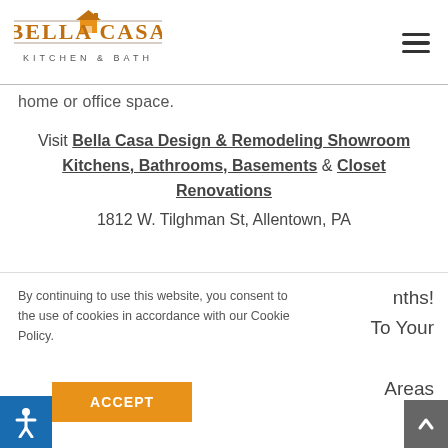[Figure (logo): Bella Casa Kitchen & Bath logo with orange house icon above text, horizontal lines above and below brand name]
home or office space.
Visit Bella Casa Design & Remodeling Showroom Kitchens, Bathrooms, Basements & Closet Renovations
1812 W. Tilghman St, Allentown, PA
By continuing to use this website, you consent to the use of cookies in accordance with our Cookie Policy.
nths! To Your Areas
ACCEPT